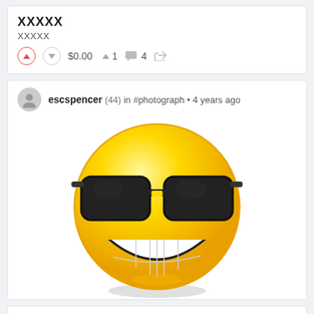XXXXX
XXXXX
$0.00   1   4
escspencer (44) in #photograph • 4 years ago
[Figure (illustration): A smiling yellow emoji face wearing black sunglasses, showing white teeth in a wide grin, with a slight shadow at the bottom]
XXXXX
XXXXX